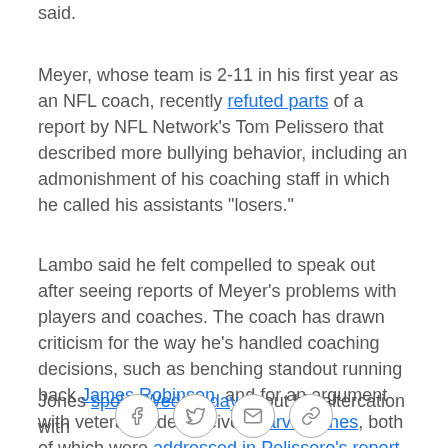said.
Meyer, whose team is 2-11 in his first year as an NFL coach, recently refuted parts of a report by NFL Network's Tom Pelissero that described more bullying behavior, including an admonishment of his coaching staff in which he called his assistants "losers."
Lambo said he felt compelled to speak out after seeing reports of Meyer's problems with players and coaches. The coach has drawn criticism for the way he's handled coaching decisions, such as benching standout running back James Robinson, and for an argument with veteran wide receiver Marvin Jones, both of which were addressed in Pelissero's report.
Jones spoke Wednesday about his altercation with
[Figure (other): Social share buttons: Facebook, Twitter, Email, Link]